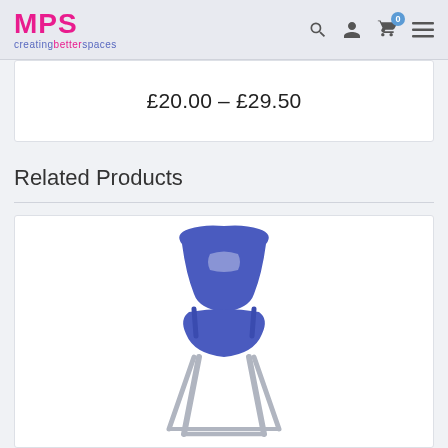MPS creatingbetterspaces
£20.00 – £29.50
Related Products
[Figure (photo): A blue plastic school chair with silver metal legs, angled to show back and seat.]